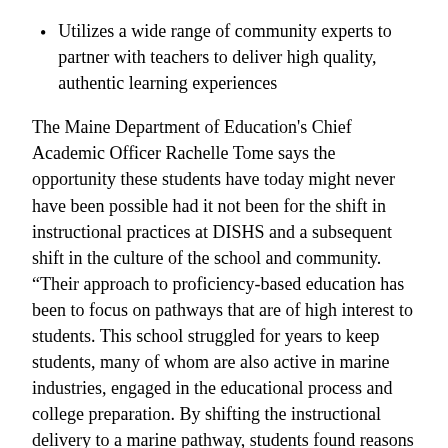Utilizes a wide range of community experts to partner with teachers to deliver high quality, authentic learning experiences
The Maine Department of Education's Chief Academic Officer Rachelle Tome says the opportunity these students have today might never have been possible had it not been for the shift in instructional practices at DISHS and a subsequent shift in the culture of the school and community. “Their approach to proficiency-based education has been to focus on pathways that are of high interest to students. This school struggled for years to keep students, many of whom are also active in marine industries, engaged in the educational process and college preparation. By shifting the instructional delivery to a marine pathway, students found reasons to stay engaged, prepare for college. The level of impact has been